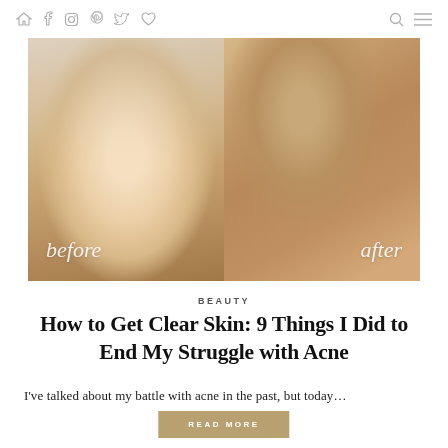Navigation bar with home, facebook, instagram, pinterest, twitter, heart icons on left; search and menu icons on right
[Figure (photo): Before and after side-by-side photos: left panel shows a blonde woman's face with eyes closed (before), with cursive white text 'before' overlaid; right panel shows a woman's bare back/shoulder (after), with cursive white text 'after' overlaid.]
BEAUTY
How to Get Clear Skin: 9 Things I Did to End My Struggle with Acne
I've talked about my battle with acne in the past, but today...
READ MORE